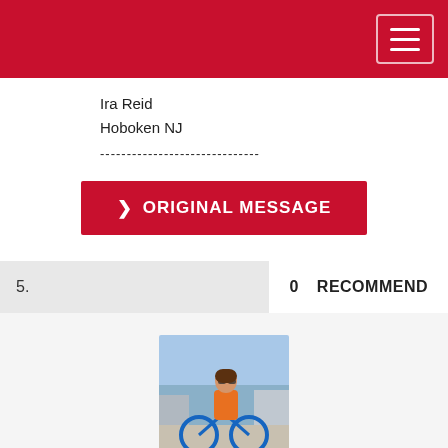[Figure (screenshot): Red header bar with hamburger menu button (three horizontal lines) in a rounded rectangle border on the right side]
Ira Reid
Hoboken NJ
------------------------------
[Figure (other): Red button labeled '> ORIGINAL MESSAGE' in white bold text]
5.
0   RECOMMEND
[Figure (photo): Profile photo of Elsie Benitez, a woman in an orange top wearing sunglasses, sitting on a blue bike outdoors]
Elsie Benitez